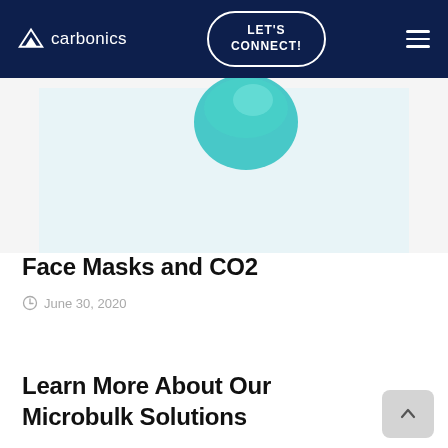carbonics — LET'S CONNECT!
[Figure (photo): Partial image showing a teal/turquoise circular object (possibly a face mask or petri dish) against a light blue-white background]
Face Masks and CO2
June 30, 2020
Learn More About Our Microbulk Solutions